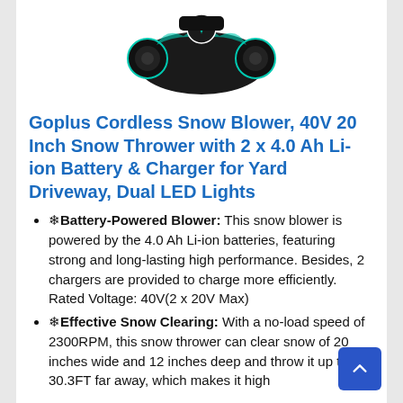[Figure (photo): Product photo of Goplus Cordless Snow Blower, showing black and teal device from above]
Goplus Cordless Snow Blower, 40V 20 Inch Snow Thrower with 2 x 4.0 Ah Li-ion Battery & Charger for Yard Driveway, Dual LED Lights
❄Battery-Powered Blower: This snow blower is powered by the 4.0 Ah Li-ion batteries, featuring strong and long-lasting high performance. Besides, 2 chargers are provided to charge more efficiently. Rated Voltage: 40V(2 x 20V Max)
❄Effective Snow Clearing: With a no-load speed of 2300RPM, this snow thrower can clear snow of 20 inches wide and 12 inches deep and throw it up to 30.3FT far away, which makes it high